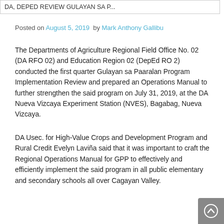DA, DEPED REVIEW GULAYAN SA P...
Posted on August 5, 2019  by Mark Anthony Gallibu
The Departments of Agriculture Regional Field Office No. 02 (DA RFO 02) and Education Region 02 (DepEd RO 2) conducted the first quarter Gulayan sa Paaralan Program Implementation Review and prepared an Operations Manual to further strengthen the said program on July 31, 2019, at the DA Nueva Vizcaya Experiment Station (NVES), Bagabag, Nueva Vizcaya.
DA Usec. for High-Value Crops and Development Program and Rural Credit Evelyn Laviña said that it was important to craft the Regional Operations Manual for GPP to effectively and efficiently implement the said program in all public elementary and secondary schools all over Cagayan Valley.